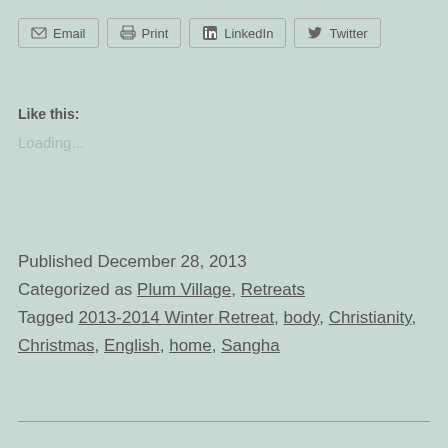[Figure (other): Social share buttons row: Email, Print, LinkedIn, Twitter]
Like this:
Loading...
Published December 28, 2013
Categorized as Plum Village, Retreats
Tagged 2013-2014 Winter Retreat, body, Christianity, Christmas, English, home, Sangha